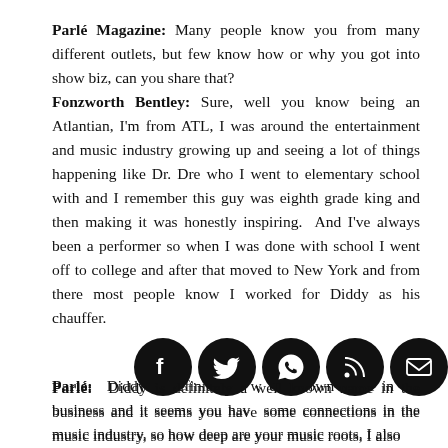Parlé Magazine: Many people know you from many different outlets, but few know how or why you got into show biz, can you share that?
Fonzworth Bentley: Sure, well you know being an Atlantian, I'm from ATL, I was around the entertainment and music industry growing up and seeing a lot of things happening like Dr. Dre who I went to elementary school with and I remember this guy was eighth grade king and then making it was honestly inspiring.  And I've always been a performer so when I was done with school I went off to college and after that moved to New York and from there most people know I worked for Diddy as his chauffer.
Parlé:  Diddy is definitely a well known name in the business and it seems you have some connections in the music industry, so how deep are your music roots, I also